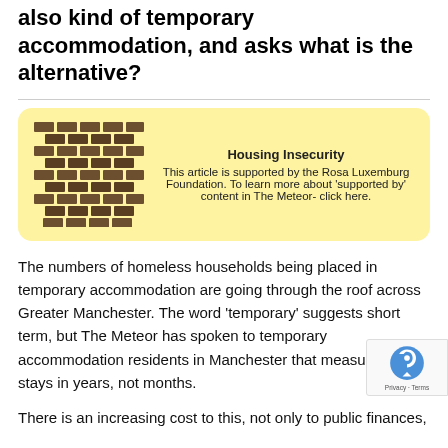also kind of temporary accommodation, and asks what is the alternative?
[Figure (infographic): Yellow rounded box with a brick wall icon on the left and text on the right describing Housing Insecurity sponsorship by Rosa Luxemburg Foundation]
The numbers of homeless households being placed in temporary accommodation are going through the roof across Greater Manchester. The word ‘temporary’ suggests short term, but The Meteor has spoken to temporary accommodation residents in Manchester that measure their stays in years, not months.
There is an increasing cost to this, not only to public finances,